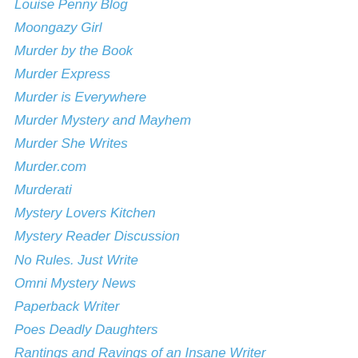Louise Penny Blog
Moongazy Girl
Murder by the Book
Murder Express
Murder is Everywhere
Murder Mystery and Mayhem
Murder She Writes
Murder.com
Murderati
Mystery Lovers Kitchen
Mystery Reader Discussion
No Rules. Just Write
Omni Mystery News
Paperback Writer
Poes Deadly Daughters
Rantings and Ravings of an Insane Writer
S. J. Bolton
Shirley Damsgaard
Sisters In Crime
Someday Is...